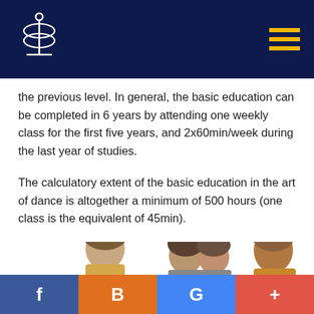Header with logo and navigation menu
the previous level. In general, the basic education can be completed in 6 years by attending one weekly class for the first five years, and 2x60min/week during the last year of studies.
The calculatory extent of the basic education in the art of dance is altogether a minimum of 500 hours (one class is the equivalent of 45min).
[Figure (photo): Three children/young people looking downward, partially visible at bottom of page]
f  B  G  +  (social media share buttons: Facebook, Blogger, Google, Google+)